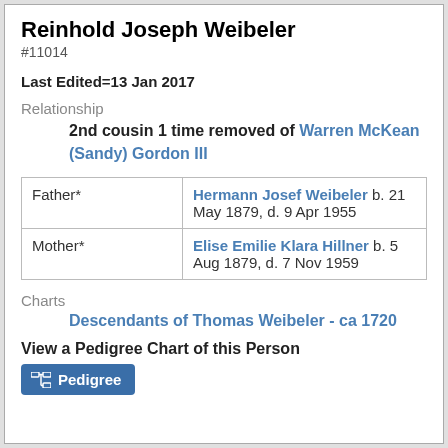Reinhold Joseph Weibeler
#11014
Last Edited=13 Jan 2017
Relationship
2nd cousin 1 time removed of Warren McKean (Sandy) Gordon III
|  |  |
| --- | --- |
| Father* | Hermann Josef Weibeler b. 21 May 1879, d. 9 Apr 1955 |
| Mother* | Elise Emilie Klara Hillner b. 5 Aug 1879, d. 7 Nov 1959 |
Charts
Descendants of Thomas Weibeler - ca 1720
View a Pedigree Chart of this Person
Pedigree